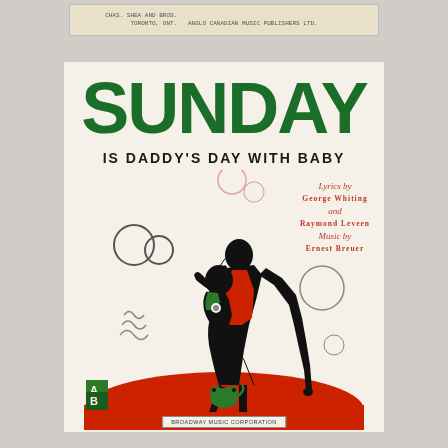CHAS SHEA AND BROS. ... TORONTO ONT. ANGLO CANADIAN MUSIC PUBLISHERS LTD.
[Figure (illustration): Sheet music cover for 'Sunday Is Daddy's Day with Baby'. Features art deco illustration of a father and baby silhouette in black, with decorative circles/bubbles. Red floor, green alphabet blocks (A,B), green toy mouse/frog. Cream background.]
SUNDAY
IS DADDY'S DAY WITH BABY
Lyrics by George Whiting and Raymond Leveen Music by Ernest Breuer
BROADWAY MUSIC CORPORATION